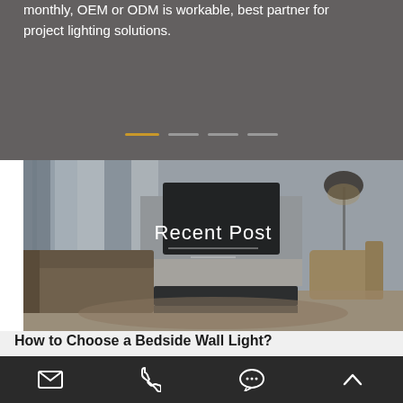monthly, OEM or ODM is workable, best partner for project lighting solutions.
[Figure (illustration): Slider navigation dots: one amber/gold active dot and three gray inactive dots]
[Figure (photo): Interior room photo showing a modern living room with sofa, coffee table, TV unit, and floor lamp. Overlaid with 'Recent Post' heading and a horizontal white line.]
Recent Post
How to Choose a Bedside Wall Light?
Generally, a bedside wall light will be installed in the master bedroom. A bedside wall light with a lampshade can not only...
Email | Phone | Chat | Up